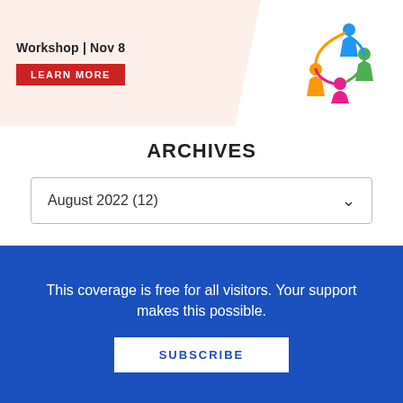[Figure (illustration): Workshop banner with 'Workshop | Nov 8' text, a red 'LEARN MORE' button on a peach/salmon background, and a colorful circle logo of interconnected people figures on the right]
ARCHIVES
August 2022  (12)
EXTERNAL LINKS
A Euro#8 Production Review...
This coverage is free for all visitors. Your support makes this possible.
SUBSCRIBE